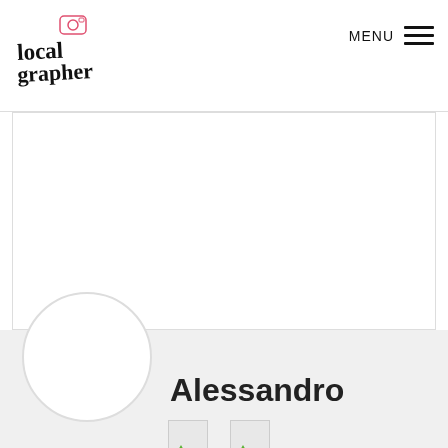[Figure (logo): Localgrapher logo with handwritten-style text and camera icon]
MENU
[Figure (photo): Large white/blank image area in the main content region]
Alessandro
[Figure (illustration): Two document/image icons with green arrow triangles at the bottom of the page]